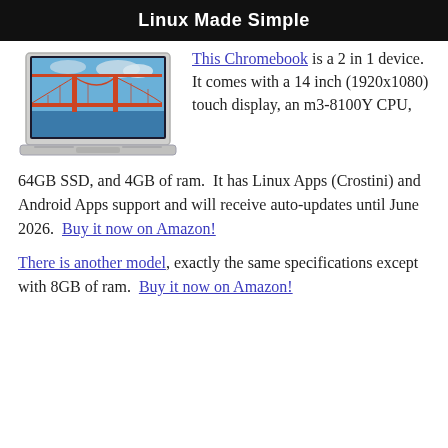Linux Made Simple
[Figure (photo): Laptop computer with Golden Gate Bridge on screen]
This Chromebook is a 2 in 1 device. It comes with a 14 inch (1920x1080) touch display, an m3-8100Y CPU, 64GB SSD, and 4GB of ram. It has Linux Apps (Crostini) and Android Apps support and will receive auto-updates until June 2026. Buy it now on Amazon!
There is another model, exactly the same specifications except with 8GB of ram. Buy it now on Amazon!